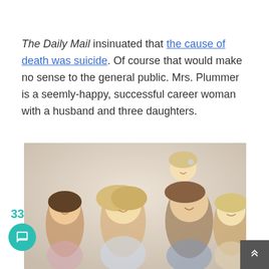The Daily Mail insinuated that the cause of death was suicide. Of course that would make no sense to the general public. Mrs. Plummer is a seemly-happy, successful career woman with a husband and three daughters.
[Figure (photo): A smiling family of five: a man, a woman (blonde), three daughters, posing together in a warm-toned photo. A young child sits on the man's shoulders.]